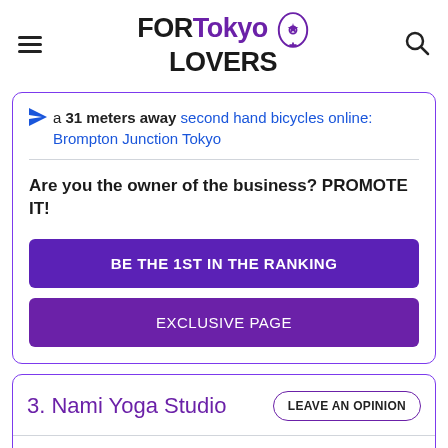FORTokyo LOVERS
a 31 meters away second hand bicycles online: Brompton Junction Tokyo
Are you the owner of the business? PROMOTE IT!
BE THE 1ST IN THE RANKING
EXCLUSIVE PAGE
3. Nami Yoga Studio
LEAVE AN OPINION